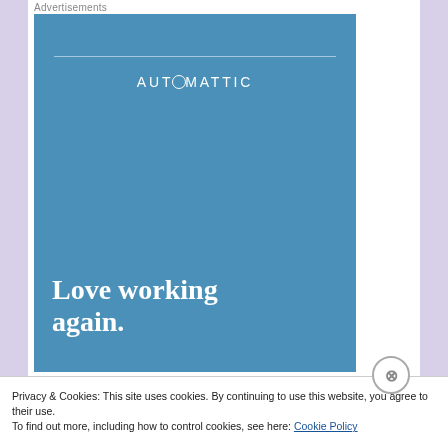Advertisements
[Figure (logo): Automattic advertisement banner. Blue background with Automattic logo at top and 'Love working again.' text in large serif white font at bottom.]
Privacy & Cookies: This site uses cookies. By continuing to use this website, you agree to their use.
To find out more, including how to control cookies, see here: Cookie Policy
Close and accept